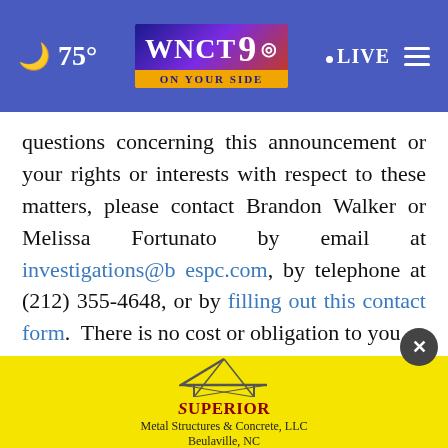75° WNCT 9 ON YOUR SIDE LIVE
questions concerning this announcement or your rights or interests with respect to these matters, please contact Brandon Walker or Melissa Fortunato by email at investigations@bespc.com, by telephone at (212) 355-4648, or by filling out this contact form.  There is no cost or obligation to you.
Contact Information:
Braga...
Brandon Walker, Esq.
[Figure (infographic): Yellow advertisement banner for Superior Metal Structures & Concrete, LLC, Beulaville, NC, with a roof/structure logo graphic. A dark circular close button (×) appears above the banner.]